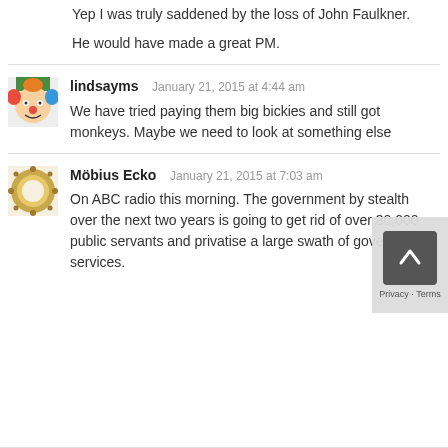Yep I was truly saddened by the loss of John Faulkner.

He would have made a great PM.
lindsayms   January 21, 2015 at 4:44 am
We have tried paying them big bickies and still got monkeys. Maybe we need to look at something else
Möbius Ecko   January 21, 2015 at 7:03 am
On ABC radio this morning. The government by stealth over the next two years is going to get rid of over 30,000 public servants and privatise a large swath of government services.